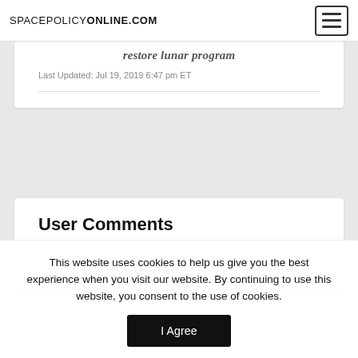SPACEPOLICYONLINE.COM
... restore lunar program
Last Updated: Jul 19, 2019 6:47 pm ET
User Comments
This website uses cookies to help us give you the best experience when you visit our website. By continuing to use this website, you consent to the use of cookies.